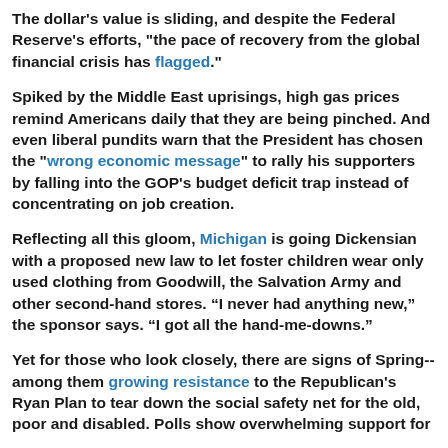The dollar's value is sliding, and despite the Federal Reserve's efforts, "the pace of recovery from the global financial crisis has flagged."
Spiked by the Middle East uprisings, high gas prices remind Americans daily that they are being pinched. And even liberal pundits warn that the President has chosen the "wrong economic message" to rally his supporters by falling into the GOP's budget deficit trap instead of concentrating on job creation.
Reflecting all this gloom, Michigan is going Dickensian with a proposed new law to let foster children wear only used clothing from Goodwill, the Salvation Army and other second-hand stores. “I never had anything new,” the sponsor says. “I got all the hand-me-downs.”
Yet for those who look closely, there are signs of Spring--among them growing resistance to the Republican's Ryan Plan to tear down the social safety net for the old, poor and disabled. Polls show overwhelming support for